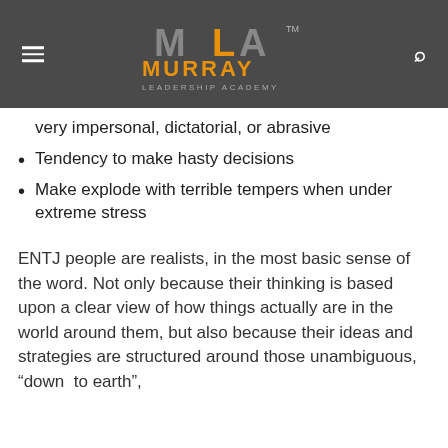[Figure (logo): Murray Leadership Academy logo with MLA monogram in grey and orange on dark grey background with hamburger menu icon and search icon]
very impersonal, dictatorial, or abrasive
Tendency to make hasty decisions
Make explode with terrible tempers when under extreme stress
ENTJ people are realists, in the most basic sense of the word. Not only because their thinking is based upon a clear view of how things actually are in the world around them, but also because their ideas and strategies are structured around those unambiguous, “down  to earth”,